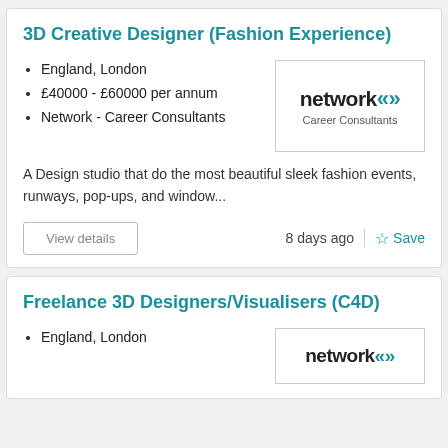3D Creative Designer (Fashion Experience)
England, London
£40000 - £60000 per annum
Network - Career Consultants
[Figure (logo): Network Career Consultants logo with chevron arrow marks]
A Design studio that do the most beautiful sleek fashion events, runways, pop-ups, and window...
View details   8 days ago   Save
Freelance 3D Designers/Visualisers (C4D)
England, London
[Figure (logo): Network Career Consultants logo partial]